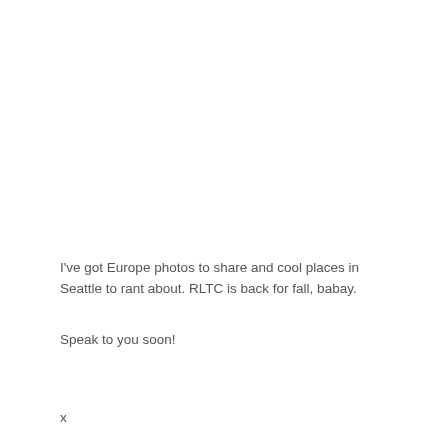I've got Europe photos to share and cool places in Seattle to rant about. RLTC is back for fall, babay.
Speak to you soon!
x